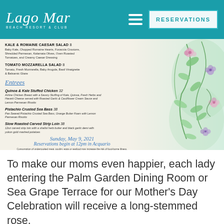Lago Mar Beach Resort & Club — RESERVATIONS
[Figure (screenshot): Menu screenshot showing Kale & Romaine Caesar Salad, Tomato Mozzarella Salad, Entrees section with Quinoa & Kale Stuffed Chicken, Pistachio Crusted Sea Bass, Slow Roasted Carved Strip Loin, event date Sunday May 9 2021, Reservations begin at 12pm in Acquario, with floral decoration on the right]
To make our moms even happier, each lady entering the Palm Garden Dining Room or Sea Grape Terrace for our Mother's Day Celebration will receive a long-stemmed rose.